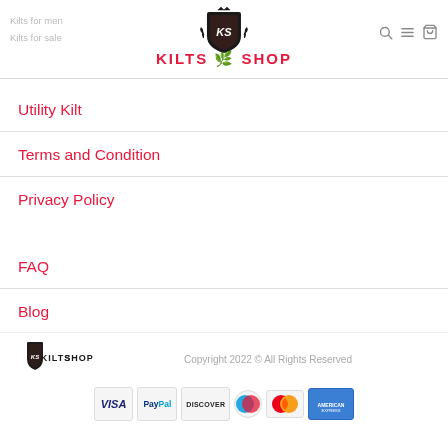Kilts for men | Kilts for sale — KILTS SHOP
Utility Kilt
Terms and Condition
Privacy Policy
FAQ
Blog
Copyright 2022 © All Rights Reserved
[Figure (logo): Kilts Shop footer logo with payment icons: VISA, PayPal, DISCOVER, Maestro, MasterCard, American Express]